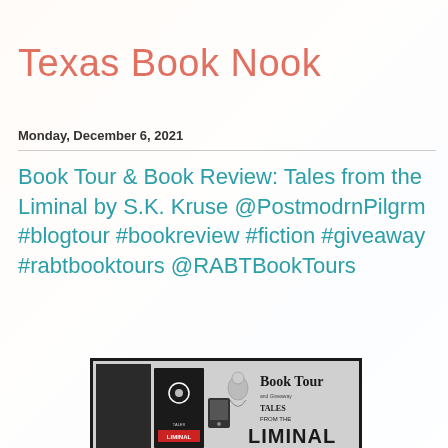Texas Book Nook
Monday, December 6, 2021
Book Tour & Book Review: Tales from the Liminal by S.K. Kruse @PostmodrnPilgrm #blogtour #bookreview #fiction #giveaway #rabtbooktours @RABTBookTours
[Figure (photo): Book tour promotional banner image showing a book cover for 'Tales from the Liminal' in black and white, with text 'Book Tour' and an illustrated figure]